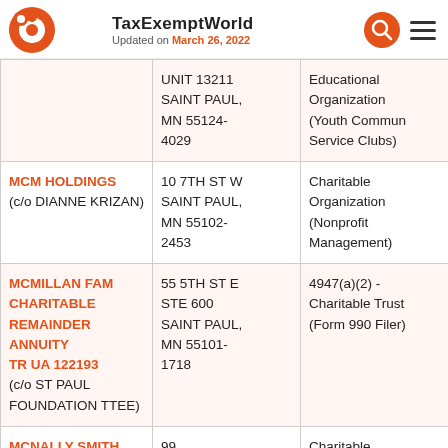TaxExemptWorld — Updated on March 26, 2022
| Organization | Address | Type |
| --- | --- | --- |
|  | UNIT 13211 SAINT PAUL, MN 55124-4029 | Educational Organization (Youth Commun Service Clubs) |
| MCM HOLDINGS (c/o DIANNE KRIZAN) | 10 7TH ST W SAINT PAUL, MN 55102-2453 | Charitable Organization (Nonprofit Management) |
| MCMILLAN FAM CHARITABLE REMAINDER ANNUITY TR UA 122193 (c/o ST PAUL FOUNDATION TTEE) | 55 5TH ST E STE 600 SAINT PAUL, MN 55101-1718 | 4947(a)(2) - Charitable Trust (Form 990 Filer) |
| MCNALLY SMITH | 99 | Charitable |